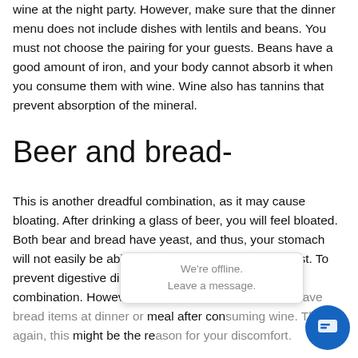wine at the night party. However, make sure that the dinner menu does not include dishes with lentils and beans. You must not choose the pairing for your guests. Beans have a good amount of iron, and your body cannot absorb it when you consume them with wine. Wine also has tannins that prevent absorption of the mineral.
Beer and bread-
This is another dreadful combination, as it may cause bloating. After drinking a glass of beer, you will feel bloated. Both bear and bread have yeast, and thus, your stomach will not easily be able to digest a high amount of yeast. To prevent digestive disorders, you have to avoid this combination. However, unknowingly people usually have bread items at dinner or meal after consuming wine. Think again, this might be the reason for your discomfort.